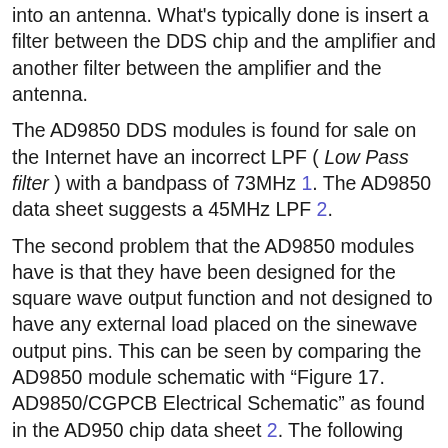into an antenna. What's typically done is insert a filter between the DDS chip and the amplifier and another filter between the amplifier and the antenna.
The AD9850 DDS modules is found for sale on the Internet have an incorrect LPF ( Low Pass filter ) with a bandpass of 73MHz 1. The AD9850 data sheet suggests a 45MHz LPF 2.
The second problem that the AD9850 modules have is that they have been designed for the square wave output function and not designed to have any external load placed on the sinewave output pins. This can be seen by comparing the AD9850 module schematic with "Figure 17. AD9850/CGPCB Electrical Schematic" as found in the AD950 chip data sheet 2. The following figure shows the schematic of the modules.
[Figure (schematic): Partial circuit schematic showing inductors L1 (470nH, C2), L2 (390nH, C4), and L3 (390nH, C6) in a low pass filter arrangement.]